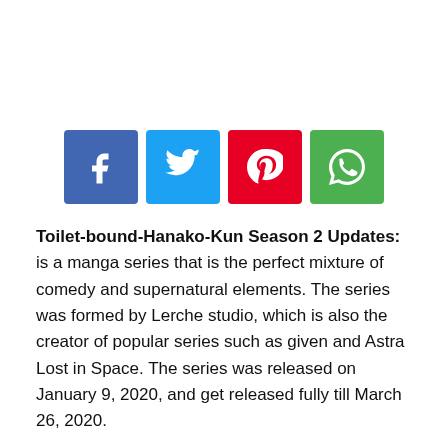[Figure (infographic): Four social media share buttons in a row: Facebook (blue), Twitter (light blue), Pinterest (red), WhatsApp (green), each showing the platform icon in white on a colored square button.]
Toilet-bound-Hanako-Kun Season 2 Updates: is a manga series that is the perfect mixture of comedy and supernatural elements. The series was formed by Lerche studio, which is also the creator of popular series such as given and Astra Lost in Space. The series was released on January 9, 2020, and get released fully till March 26, 2020.
The series got a huge fan base from throughout the world. After the final episode-"The Little Mermaid" of Season 1 of this season, the fans are eagerly waiting for the second season of